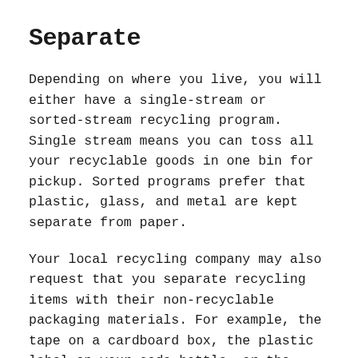Separate
Depending on where you live, you will either have a single-stream or sorted-stream recycling program. Single stream means you can toss all your recyclable goods in one bin for pickup. Sorted programs prefer that plastic, glass, and metal are kept separate from paper.
Your local recycling company may also request that you separate recycling items with their non-recyclable packaging materials. For example, the tape on a cardboard box, the plastic label on your soda bottle, or the paper wrapping on a can of tuna.
Keep It Clean